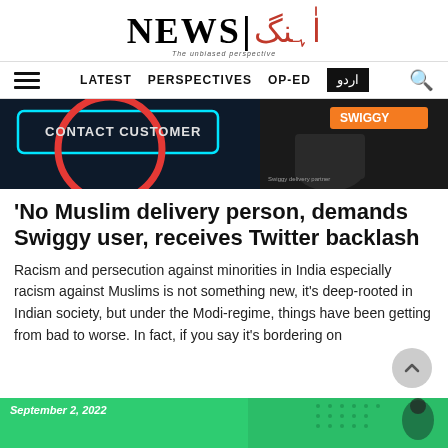NEWS | Aahang — The unbiased perspective
LATEST   PERSPECTIVES   OP-ED   اردو
[Figure (photo): Hero banner image showing a Swiggy delivery interface on left with a red circle overlay and 'CONTACT CUSTOMER' text, and a Swiggy-uniformed worker on the right side against dark background.]
'No Muslim delivery person, demands Swiggy user, receives Twitter backlash
Racism and persecution against minorities in India especially racism against Muslims is not something new, it's deep-rooted in Indian society, but under the Modi-regime, things have been getting from bad to worse. In fact, if you say it's bordering on
[Figure (photo): Bottom green strip showing date September 2, 2022 and partial image of a person.]